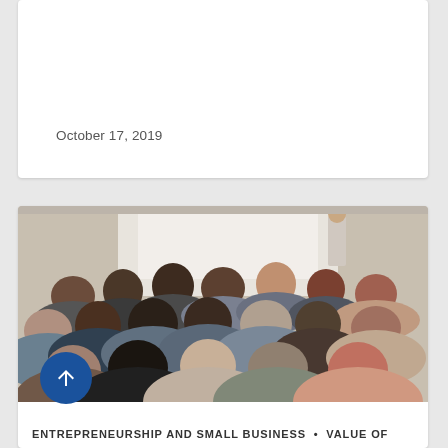October 17, 2019
[Figure (photo): Audience viewed from behind attending a lecture or presentation, with a presenter visible at the front of the room near a whiteboard.]
ENTREPRENEURSHIP AND SMALL BUSINESS  •  VALUE OF